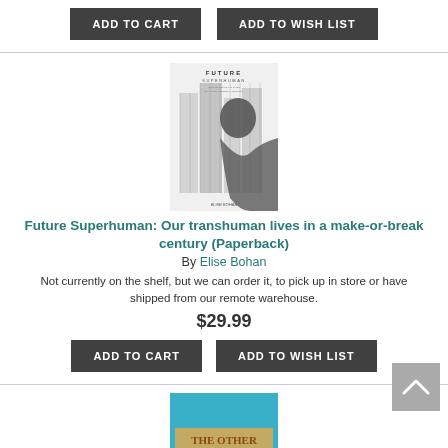[Figure (other): Two dark buttons at top: ADD TO CART and ADD TO WISH LIST]
[Figure (illustration): Book cover of Future Superhuman by Elise Bohan, black and white image with city and human profile silhouette]
Future Superhuman: Our transhuman lives in a make-or-break century (Paperback)
By Elise Bohan
Not currently on the shelf, but we can order it, to pick up in store or have shipped from our remote warehouse.
$29.99
[Figure (other): Two dark buttons: ADD TO CART and ADD TO WISH LIST]
[Figure (illustration): Partial book cover at bottom, blue background with text THE OTHER]